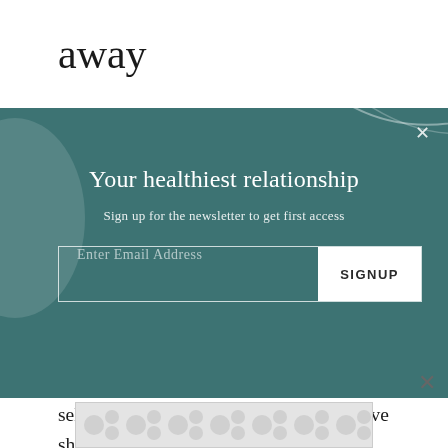away
[Figure (screenshot): Email newsletter signup modal with teal background. Title: 'Your healthiest relationship'. Subtitle: 'Sign up for the newsletter to get first access'. Email input field with SIGNUP button.]
selenium disulfide are antifungal and have shown some good results in reducing dandruff,” says Dr. Burg. For more natural options, certain essential oils and extracts have got your back. “Natural alternatives for treating dandruff include rosemary oil, lavender oil, green tea extract, and mangosteen—all have great
[Figure (other): Partial view of an advertisement banner with grey circular dot pattern on light background]